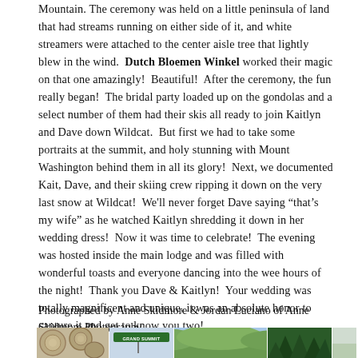Mountain. The ceremony was held on a little peninsula of land that had streams running on either side of it, and white streamers were attached to the center aisle tree that lightly blew in the wind. Dutch Bloemen Winkel worked their magic on that one amazingly! Beautiful! After the ceremony, the fun really began! The bridal party loaded up on the gondolas and a select number of them had their skis all ready to join Kaitlyn and Dave down Wildcat. But first we had to take some portraits at the summit, and holy stunning with Mount Washington behind them in all its glory! Next, we documented Kait, Dave, and their skiing crew ripping it down on the very last snow at Wildcat! We'll never forget Dave saying "that's my wife" as he watched Kaitlyn shredding it down in her wedding dress! Now it was time to celebrate! The evening was hosted inside the main lodge and was filled with wonderful toasts and everyone dancing into the wee hours of the night! Thank you Dave & Kaitlyn! Your wedding was totally magnificent and unique, it was an absolute honor to capture it and get to know you two!
Photographed by Anne Skidmore & Jordan Luciano of Anne Skidmore Photography
[Figure (photo): A strip of four photos partially visible at the bottom: stacked logs, a Grand Summit road sign, a green mountain landscape panorama, and dense evergreen trees.]